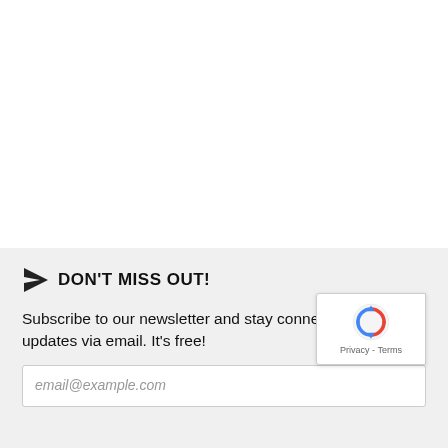DON'T MISS OUT!
Subscribe to our newsletter and stay connected to all updates via email. It's free!
[Figure (other): Email input field with placeholder text 'email@example.com' on a light gray background, with a reCAPTCHA Privacy - Terms badge overlaid in lower right corner]